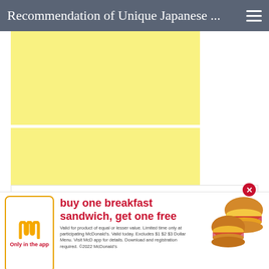Recommendation of Unique Japanese ...
[Figure (other): Yellow placeholder image block (top)]
[Figure (other): Yellow placeholder image block (bottom)]
Privacy & Cookies: This site uses cookies. By continuing to use this website, you agree to their use.
To find out more, including how to control cookies, see here: Cookie Policy
[Figure (infographic): McDonald's app advertisement banner: 'buy one breakfast sandwich, get one free'. Shows McDonald's app icon with golden arches, 'Only in the app' label, headline text in red, fine print about validity, and a photo of two breakfast sandwiches. Includes a red close button.]